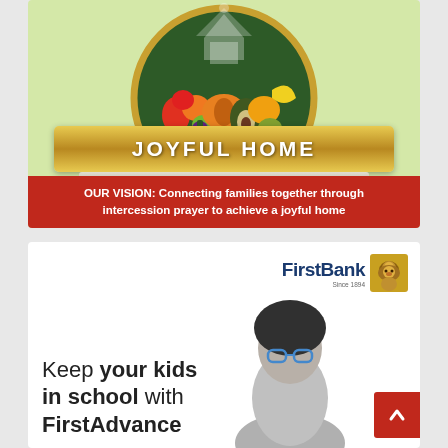[Figure (logo): Joyful Home Intercessory Ministry logo: circular dark green badge with gold border, church silhouette at top, colorful fruits in center, gold ribbon banner reading JOYFUL HOME, grey sub-banner reading INTERCESSORY MINISTRY, red bar at bottom with vision statement]
OUR VISION: Connecting families together through intercession prayer to achieve a joyful home
[Figure (illustration): FirstBank advertisement: white background, FirstBank logo top right with lion icon, text reads 'Keep your kids in school with FirstAdvance', silhouette of a young person with glasses on the right side, red scroll-up button bottom right]
Keep your kids in school with FirstAdvance